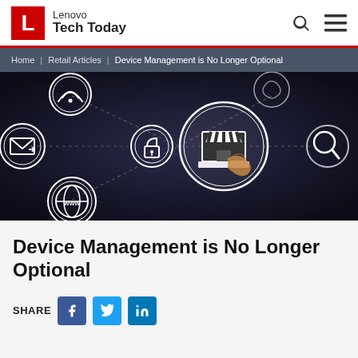Lenovo Tech Today
Home | Retail Articles | Device Management is No Longer Optional
[Figure (photo): Dark-themed digital illustration showing interconnected retail/internet icons: wifi signal, email envelope, globe with WWW, padlock security icon, store/shop icon with awning on a laptop screen, and a magnifying glass, all connected by dashed lines. A human finger points at the store icon.]
Device Management is No Longer Optional
SHARE